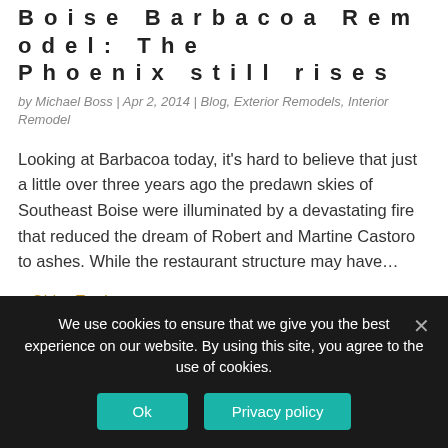Boise Barbacoa Remodel: The Phoenix still rises
by Michael Boss | Apr 2, 2014 | Blog, Exterior Remodels, Interior Remodel
Looking at Barbacoa today, it's hard to believe that just a little over three years ago the predawn skies of Southeast Boise were illuminated by a devastating fire that reduced the dream of Robert and Martine Castoro to ashes. While the restaurant structure may have...
« Older Entries
About Us
We use cookies to ensure that we give you the best experience on our website. By using this site, you agree to the use of cookies.